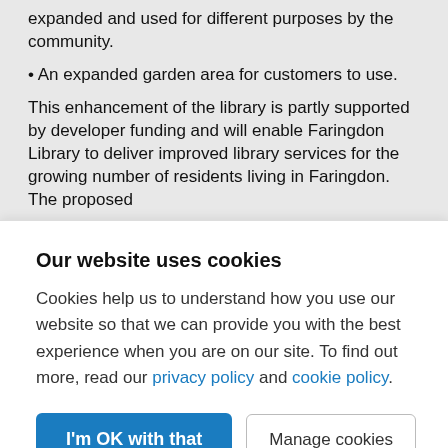expanded and used for different purposes by the community.
• An expanded garden area for customers to use.
This enhancement of the library is partly supported by developer funding and will enable Faringdon Library to deliver improved library services for the growing number of residents living in Faringdon. The proposed
Our website uses cookies
Cookies help us to understand how you use our website so that we can provide you with the best experience when you are on our site. To find out more, read our privacy policy and cookie policy.
I'm OK with that
Manage cookies